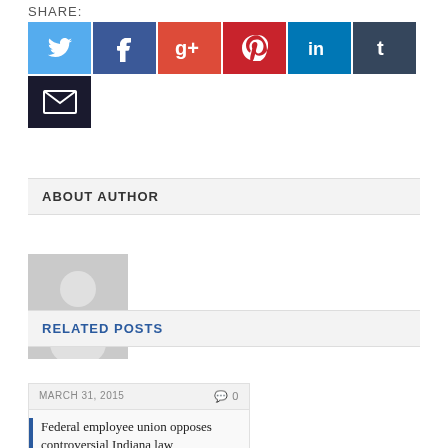SHARE:
[Figure (infographic): Social sharing buttons: Twitter (blue), Facebook (dark blue), Google+ (orange-red), Pinterest (red), LinkedIn (blue), Tumblr (dark grey), Email (dark navy)]
ABOUT AUTHOR
[Figure (photo): Default grey placeholder avatar showing silhouette of a person]
RELATED POSTS
MARCH 31, 2015
0
Federal employee union opposes controversial Indiana law